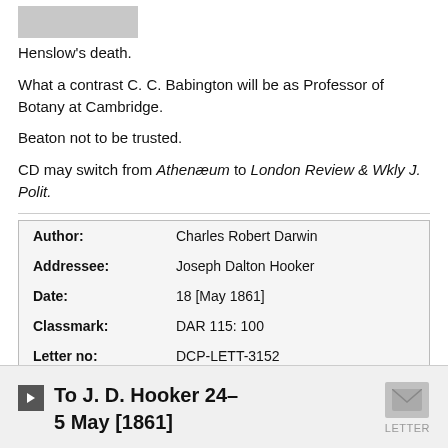[Figure (photo): Partial image visible at top of page, cropped]
Henslow’s death.
What a contrast C. C. Babington will be as Professor of Botany at Cambridge.
Beaton not to be trusted.
CD may switch from Athenæum to London Review & Wkly J. Polit.
| Field | Value |
| --- | --- |
| Author: | Charles Robert Darwin |
| Addressee: | Joseph Dalton Hooker |
| Date: | 18 [May 1861] |
| Classmark: | DAR 115: 100 |
| Letter no: | DCP-LETT-3152 |
To J. D. Hooker  24–5 May [1861]